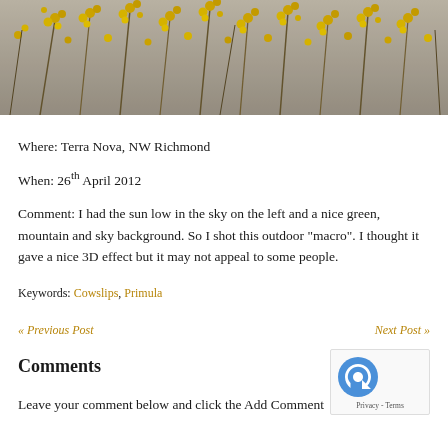[Figure (photo): Close-up photograph of yellow wildflowers (cowslips/primula) against a grey-brown sky background, serving as a decorative page header image.]
Where: Terra Nova, NW Richmond
When: 26th April 2012
Comment: I had the sun low in the sky on the left and a nice green, mountain and sky background. So I shot this outdoor "macro". I thought it gave a nice 3D effect but it may not appeal to some people.
Keywords: Cowslips, Primula
« Previous Post
Next Post »
Comments
Leave your comment below and click the Add Comment